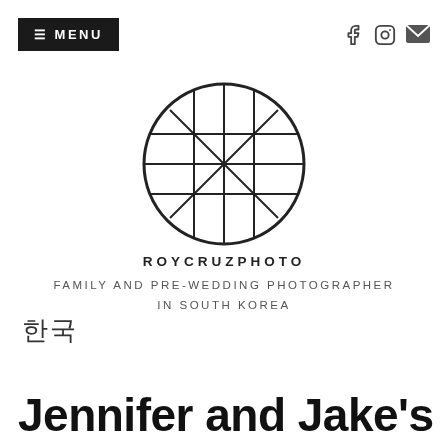≡ MENU
[Figure (logo): RoyCruzPhoto circular geometric logo with grid and diagonal lines inside a circle]
ROYCRUZPHOTO
FAMILY AND PRE-WEDDING PHOTOGRAPHER IN SOUTH KOREA
한국
Jennifer and Jake's